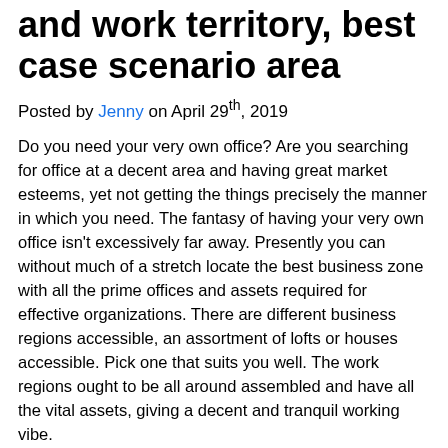and work territory, best case scenario area
Posted by Jenny on April 29th, 2019
Do you need your very own office? Are you searching for office at a decent area and having great market esteems, yet not getting the things precisely the manner in which you need. The fantasy of having your very own office isn't excessively far away. Presently you can without much of a stretch locate the best business zone with all the prime offices and assets required for effective organizations. There are different business regions accessible, an assortment of lofts or houses accessible. Pick one that suits you well. The work regions ought to be all around assembled and have all the vital assets, giving a decent and tranquil working vibe.
Numerous organizations are giving coordinated structural and well plan remunerating work place in the best area which will help in the smooth working of the association. Assortment of business organizations like Uptown @ Farrer and mont botanik residence showflat are accessible; you need to pick the administration as indicated by the interest of your business. They are giving the most expert, focused and